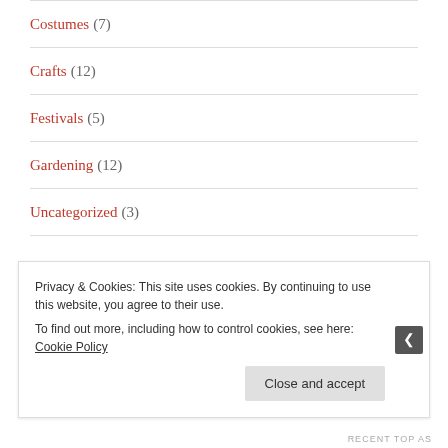Costumes (7)
Crafts (12)
Festivals (5)
Gardening (12)
Uncategorized (3)
- RECENT POSTS -
Privacy & Cookies: This site uses cookies. By continuing to use this website, you agree to their use.
To find out more, including how to control cookies, see here: Cookie Policy
RECENT TOP AS